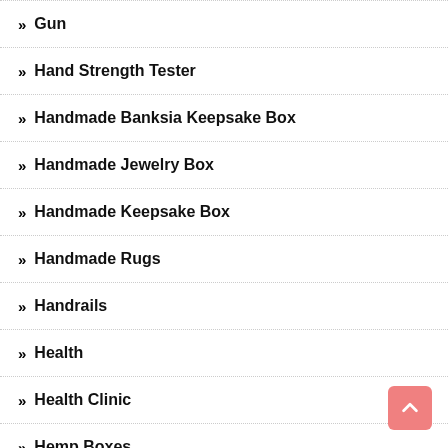Gun
Hand Strength Tester
Handmade Banksia Keepsake Box
Handmade Jewelry Box
Handmade Keepsake Box
Handmade Rugs
Handrails
Health
Health Clinic
Hemp Boxes
Hemp Packaging
Higher Education
Holiday Homes